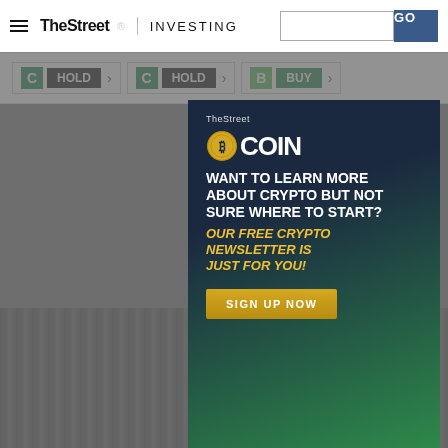TheStreet INVESTING
C HOLD > C HOLD > B BUY >
[Figure (screenshot): TheStreet Coin modal advertisement popup with dark blue-green gradient background, TheStreet Coin logo at top, text 'WANT TO LEARN MORE ABOUT CRYPTO BUT NOT SURE WHERE TO START? OUR FREE CRYPTO NEWSLETTER IS JUST FOR YOU!', and a 'SIGN UP NOW' button. Background shows a blurred finance website page with gray overlay.]